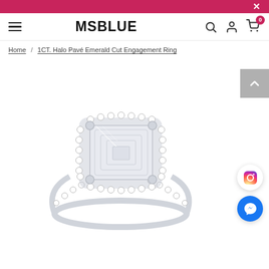MSBLUE — navigation header with hamburger menu, logo, search, account, and cart (0 items)
Home / 1CT. Halo Pavé Emerald Cut Engagement Ring
[Figure (photo): Product photo of a halo pavé emerald cut engagement ring in white gold/silver with a large rectangular emerald-cut center stone surrounded by a halo of small round diamonds and pavé diamonds along the band.]